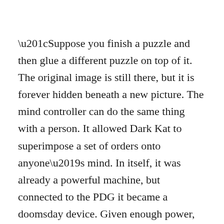“Suppose you finish a puzzle and then glue a different puzzle on top of it. The original image is still there, but it is forever hidden beneath a new picture. The mind controller can do the same thing with a person. It allowed Dark Kat to superimpose a set of orders onto anyone’s mind. In itself, it was already a powerful machine, but connected to the PDG it became a doomsday device. Given enough power, Dark Kat would have been able to make everybody on the planet do his bidding with just the three concise orders his apparatus was set to send out: obey Dark Kat, love Dark Kat and fear Dark Kat.